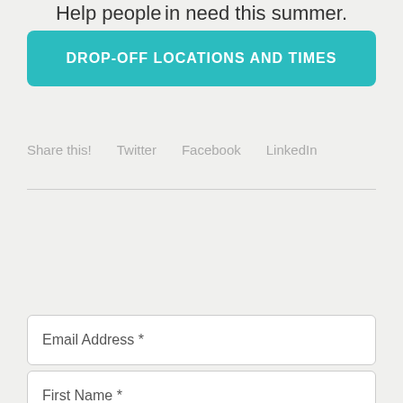Help people in need this summer.
DROP-OFF LOCATIONS AND TIMES
Share this!  Twitter  Facebook  LinkedIn
Email Address *
First Name *